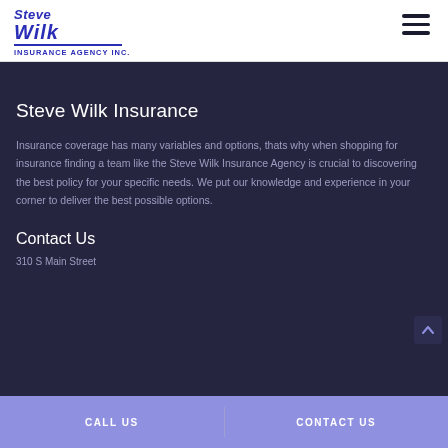[Figure (logo): Steve Wilk Insurance Agency Inc. logo in blue italic text with underline]
Steve Wilk Insurance
Insurance coverage has many variables and options, thats why when shopping for insurance finding a team like the Steve Wilk Insurance Agency is crucial to discovering the best policy for your specific needs. We put our knowledge and experience in your corner to deliver the best possible options.
Contact Us
310 S Main Street
CALL US   |   CONTACT US